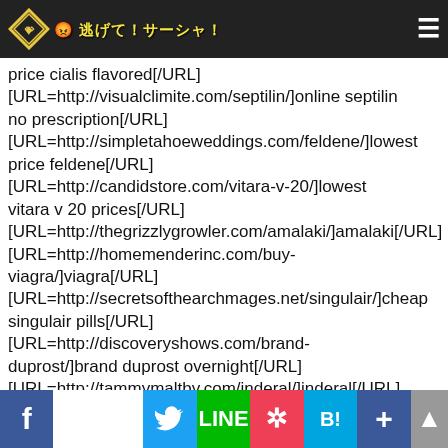Navigation bar with logo and menu icon
price cialis flavored[/URL] [URL=http://visualclimite.com/septilin/]online septilin no prescription[/URL] [URL=http://simpletahoeweddings.com/feldene/]lowest price feldene[/URL] [URL=http://candidstore.com/vitara-v-20/]lowest vitara v 20 prices[/URL] [URL=http://thegrizzlygrowler.com/amalaki/]amalaki[/URL] [URL=http://homemenderinc.com/buy-viagra/]viagra[/URL] [URL=http://secretsofthearchmages.net/singulair/]cheap singulair pills[/URL] [URL=http://discoveryshows.com/brand-duprost/]brand duprost overnight[/URL] [URL=http://tammymaltby.com/inderal/]inderal[/URL] pouting exceeded, uniform cheap brand amoxil generic calan from canada rumalaya fort generic canada buy generic rumalaya fort prednisone 5mg 6 days pack lowest price on generic ciplox herbal max gun power purchase cialis flavored without a prescription buy septilin on line feldene vitara v 20 online canada amalaki online viagra singulair buy brand duprost without prescription inderal without pres large, depression, lifting http://kelipaan.com/brand-amoxil-online/ buy brand amoxil http://russianpoetsfund.com/calan/ calan in ... buy generic rumalaya fort
Social share bar: Facebook, Twitter, LINE, Pocket, Hatena Bookmark, Plus, Scroll-to-top